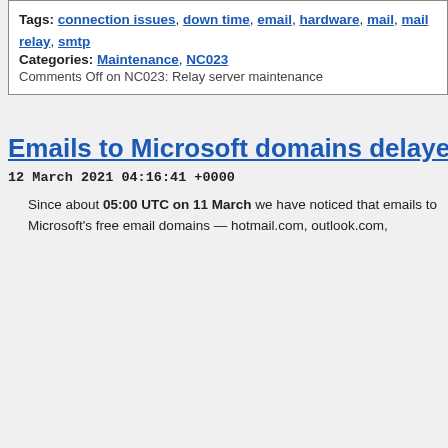Tags: connection issues, down time, email, hardware, mail, mail relay, smtp
Categories: Maintenance, NC023
Comments Off on NC023: Relay server maintenance
Emails to Microsoft domains delayed
12 March 2021 04:16:41 +0000
Since about 05:00 UTC on 11 March we have noticed that emails to Microsoft's free email domains — hotmail.com, outlook.com,
NC033 (13)
NC035 (3)
NC036 (73)
NC037 (2)
NC040 (3)
NC041 (23)
Uncategorized (1)
Upgrades (59)
Links
World Time Server
Tags:
.co.zm domains .com.zm domains .zam.co domains back-up bounce messages browser warnings configuration connection issues control panel database dns dos attack dot-zm domains down time email email delivery error messages ftp hardware imap mail mailing lists mail relay mail